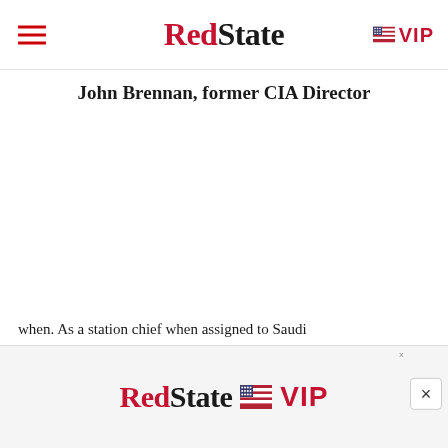RedState  VIP
John Brennan, former CIA Director
Here was a man whose career at the CIA was one of a
when.  As a station chief when assigned to Saudi
[Figure (screenshot): RedState VIP advertisement overlay banner with close button]